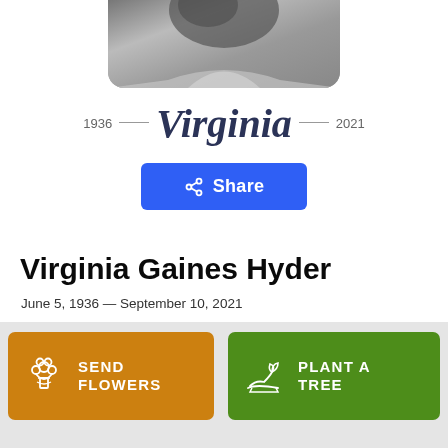[Figure (photo): Partial grayscale portrait photo of Virginia Gaines Hyder, cropped at top of page, showing lower face and shoulders]
1936 — Virginia — 2021
[Figure (other): Blue Share button with share icon]
Virginia Gaines Hyder
June 5, 1936 — September 10, 2021
[Figure (other): Orange 'Send Flowers' button with flower bouquet icon]
[Figure (other): Green 'Plant a Tree' button with seedling icon]